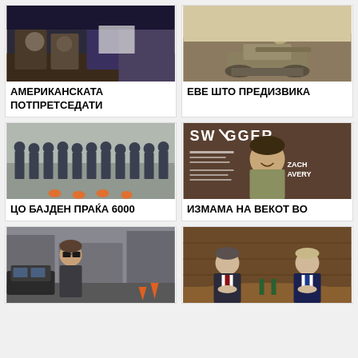[Figure (photo): People seated at an event, indoor, dimly lit]
АМЕРИКАНСКАТА ПОТПРЕТСЕДАТИ
[Figure (photo): Military tank on a desert road]
ЕВЕ ШТО ПРЕДИЗВИКА
[Figure (photo): Soldiers marching in a line outdoors]
ЦО БАЈДЕН ПРАЌА 6000
[Figure (photo): Swagger magazine cover featuring Zach Avery]
ИЗМАМА НА ВЕКОТ ВО
[Figure (photo): Person in sunglasses walking on a street]
[Figure (photo): Two men in suits seated at a meeting table]